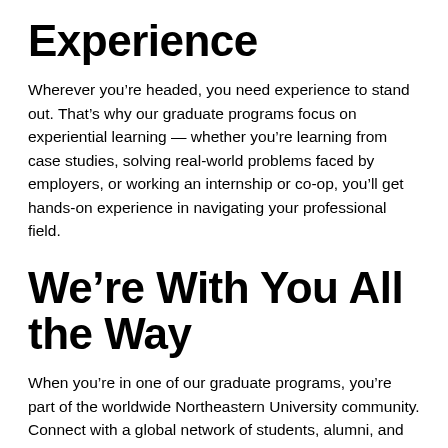Experience
Wherever you’re headed, you need experience to stand out. That’s why our graduate programs focus on experiential learning — whether you’re learning from case studies, solving real-world problems faced by employers, or working an internship or co-op, you’ll get hands-on experience in navigating your professional field.
We’re With You All the Way
When you’re in one of our graduate programs, you’re part of the worldwide Northeastern University community. Connect with a global network of students, alumni, and